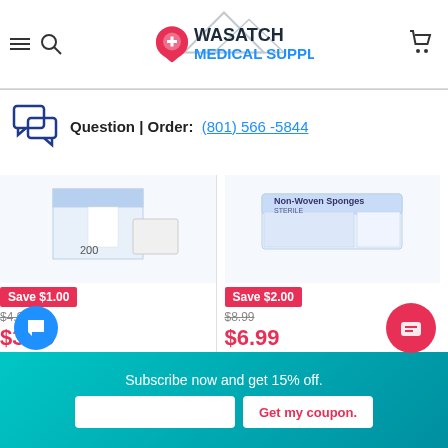[Figure (logo): Wasatch Medical Supply logo with mountain silhouette and red location pin with cross]
Question | Order: (801) 566-5844
[Figure (photo): Product image of Medline Standard Nonsterile Nonwoven Gauze Sponges box (200 count)]
Save $1.00
$4.99
$3.99
Medline Standard Nonsterile Nonwoven Gauze Sponges
[Figure (photo): Product image of Non-Woven Sponge McKesson Polyester Rayon 4-Ply 3 X 3 Inch box]
Save $2.00
$8.99
$6.99
Non-Woven Sponge McKesson Polyester Rayon 4-Ply 3 X 3 Inch
Subscribe now and get 15% off.
Get my coupon.